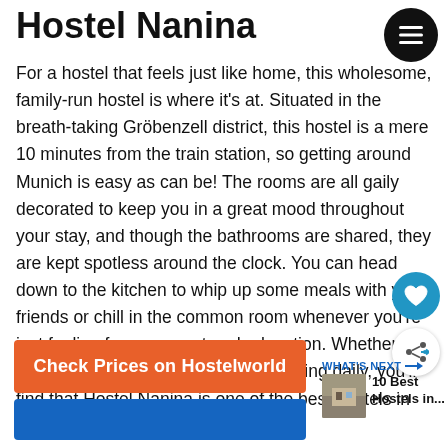Hostel Nanina
For a hostel that feels just like home, this wholesome, family-run hostel is where it’s at. Situated in the breath-taking Gröbenzell district, this hostel is a mere 10 minutes from the train station, so getting around Munich is easy as can be! The rooms are all gaily decorated to keep you in a great mood throughout your stay, and though the bathrooms are shared, they are kept spotless around the clock. You can head down to the kitchen to whip up some meals with your friends or chill in the common room whenever you’re just feeling for some rest and relaxation. Whether you’re a stay-in guest or up for exploring daily, you’ll find that Hostel Nanina is one of the best hostels in Munich regardless of your budget.
Check Prices on Hostelworld